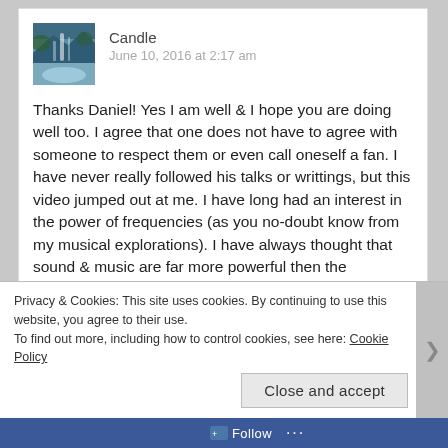[Figure (photo): Avatar thumbnail of a waterfall/nature scene]
Candle
June 10, 2016 at 2:17 am
Thanks Daniel! Yes I am well & I hope you are doing well too. I agree that one does not have to agree with someone to respect them or even call oneself a fan. I have never really followed his talks or writtings, but this video jumped out at me. I have long had an interest in the power of frequencies (as you no-doubt know from my musical explorations). I have always thought that sound & music are far more powerful then the mundane “entertainment value” most Individuals ascribe to them.
Privacy & Cookies: This site uses cookies. By continuing to use this website, you agree to their use.
To find out more, including how to control cookies, see here: Cookie Policy
Close and accept
Follow